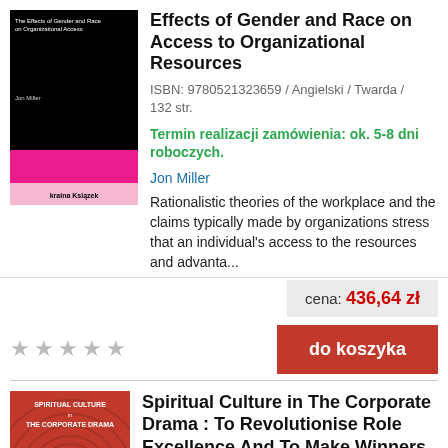[Figure (illustration): Book cover of Effects of Gender and Race on Access to Organizational Resources, black background with pink and light pink bar at bottom, kraina ksiazek logo]
Effects of Gender and Race on Access to Organizational Resources
ISBN: 9780521323659 / Angielski / Twarda / 132 str.
Termin realizacji zamówienia: ok. 5-8 dni roboczych.
Jon Miller
Rationalistic theories of the workplace and the claims typically made by organizations stress that an individual's access to the resources and advanta...
cena: 436,64 zł
do koszyka
[Figure (illustration): Book cover of Spiritual Culture in The Corporate Drama with red background and spiral pattern]
Spiritual Culture in The Corporate Drama : To Revolutionise Role Excellence And To Make Winners All In The Workplace